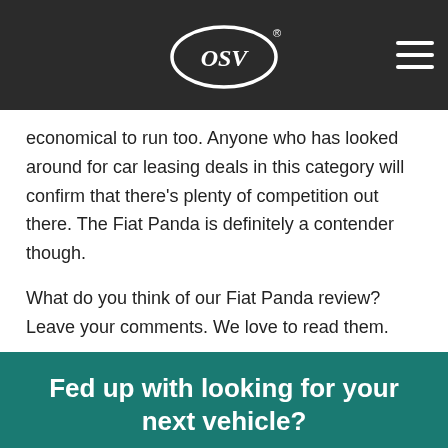OSV
economical to run too. Anyone who has looked around for car leasing deals in this category will confirm that there’s plenty of competition out there. The Fiat Panda is definitely a contender though.
What do you think of our Fiat Panda review? Leave your comments. We love to read them.
Fed up with looking for your next vehicle?
Need advice from an ex... vehicle...
Chat now